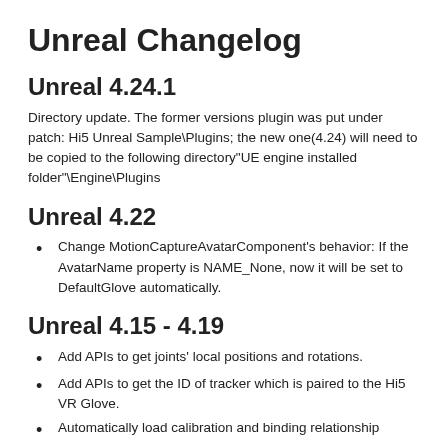Unreal Changelog
Unreal 4.24.1
Directory update. The former versions plugin was put under patch: Hi5 Unreal Sample\Plugins; the new one(4.24) will need to be copied to the following directory"UE engine installed folder"\Engine\Plugins
Unreal 4.22
Change MotionCaptureAvatarComponent's behavior: If the AvatarName property is NAME_None, now it will be set to DefaultGlove automatically.
Unreal 4.15 - 4.19
Add APIs to get joints' local positions and rotations.
Add APIs to get the ID of tracker which is paired to the Hi5 VR Glove.
Automatically load calibration and binding relationship